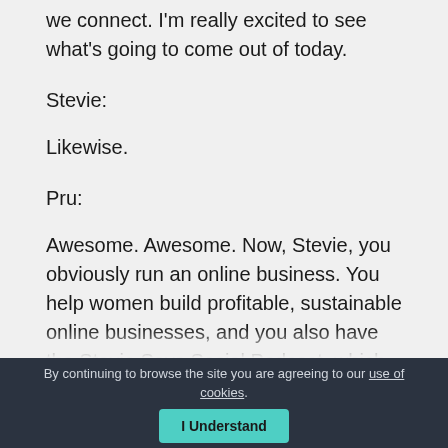we connect. I'm really excited to see what's going to come out of today.
Stevie:
Likewise.
Pru:
Awesome. Awesome. Now, Stevie, you obviously run an online business. You help women build profitable, sustainable online businesses, and you also have the Stevie Says Social Podcast, which offers an incredible amount of value to your listeners. We've
By continuing to browse the site you are agreeing to our use of cookies. I Understand